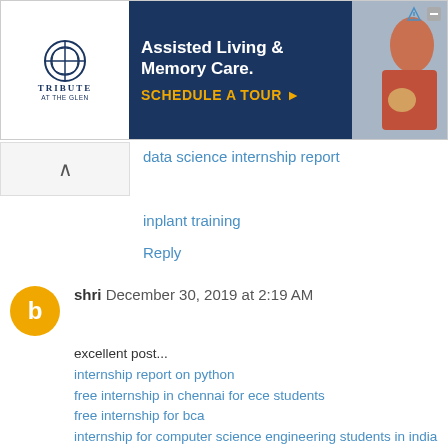[Figure (screenshot): Advertisement banner for Tribute at the Glen - Assisted Living & Memory Care with Schedule a Tour CTA]
data science internship report
inplant training
Reply
shri  December 30, 2019 at 2:19 AM
excellent post...
internship report on python
free internship in chennai for ece students
free internship for bca
internship for computer science engineering students in india
internships in hyderabad for cse students 2018
electrical companies in hyderabad for internship
internships in chennai for cse students 2019
internships for ece students
inplant training in tcs chennai